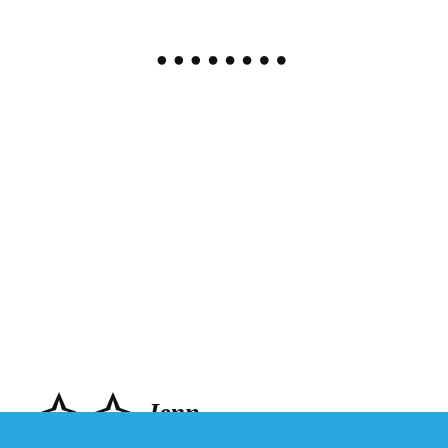••••••••
Jenn
March 6, 2012 at 1:21 pm
This layout is so soft this week! Love the flowers and
Privacy & Cookies: This site uses cookies. By continuing to use this website, you agree to their use.
To find out more, including how to control cookies, see here: Cookie Policy
Close and accept